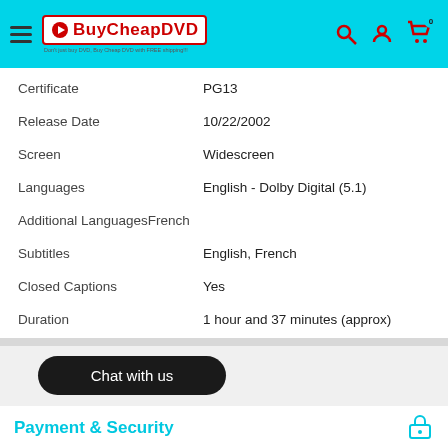BuyCheapDVD
| Field | Value |
| --- | --- |
| Certificate | PG13 |
| Release Date | 10/22/2002 |
| Screen | Widescreen |
| Languages | English - Dolby Digital (5.1) |
| Additional Languages | French |
| Subtitles | English, French |
| Closed Captions | Yes |
| Duration | 1 hour and 37 minutes (approx) |
Chat with us
Payment & Security